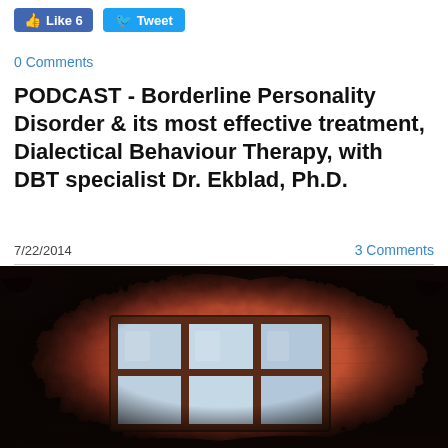Like 6  Tweet
0 Comments
PODCAST - Borderline Personality Disorder & its most effective treatment, Dialectical Behaviour Therapy, with DBT specialist Dr. Ekblad, Ph.D.
7/22/2014   3 Comments
[Figure (photo): Artistic distorted photo of a brick building wall with a three-panel window, rendered with dark burnt edges and warm orange-red color tones suggesting distress or psychological intensity.]